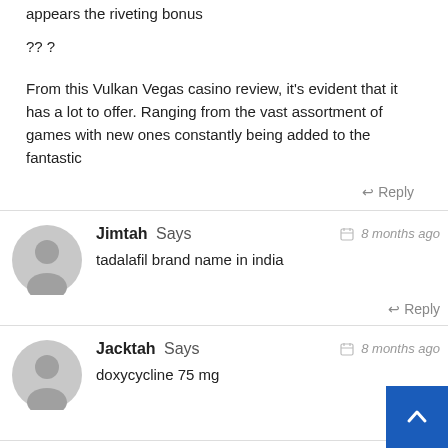appears the riveting bonus
?? ?
From this Vulkan Vegas casino review, it's evident that it has a lot to offer. Ranging from the vast assortment of games with new ones constantly being added to the fantastic
↩ Reply
Jimtah Says   🗓 8 months ago
tadalafil brand name in india
↩ Reply
Jacktah Says   🗓 8 months ago
doxycycline 75 mg
↩ Reply